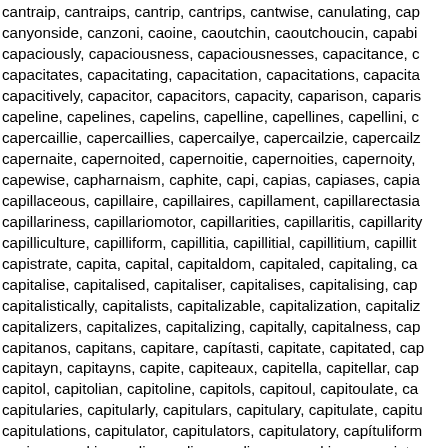cantraip, cantraips, cantrip, cantrips, cantwise, canulating, cap canyonside, canzoni, caoine, caoutchin, caoutchoucin, capabi capaciously, capaciousness, capaciousnesses, capacitance, c capacitates, capacitating, capacitation, capacitations, capacita capacitively, capacitor, capacitors, capacity, caparison, caparis capeline, capelines, capelins, capelline, capellines, capellini, c capercaillie, capercaillies, capercailye, capercailzie, capercailz capernaite, capernoited, capernoitie, capernoities, capernoity, capewise, capharnaism, caphite, capi, capias, capiases, capia capillaceous, capillaire, capillaires, capillament, capillarectasia capillariness, capillariomotor, capillarities, capillaritis, capillarity capilliculture, capilliform, capillitia, capillitial, capillitium, capillit capistrate, capita, capital, capitaldom, capitaled, capitaling, ca capitalise, capitalised, capitaliser, capitalises, capitalising, cap capitalistically, capitalists, capitalizable, capitalization, capitaliz capitalizers, capitalizes, capitalizing, capitally, capitalness, cap capitanos, capitans, capitare, capítasti, capitate, capitated, cap capitayn, capitayns, capite, capiteaux, capitella, capitellar, cap capitol, capitolian, capitoline, capitols, capitoul, capitoulate, ca capitularies, capitularly, capitulars, capitulary, capitulate, capitu capitulations, capitulator, capitulators, capitulatory, capítuliform capizes, capkin, caplin, capling, caplins, capmaking, capmint, capoeira, capoeiras, caponier, caponiere, caponieres, caponie caponiser, caponises, caponising, caponization, caponize, cap caponniere, capotting, cappadine, cappadochio, capparid, cap